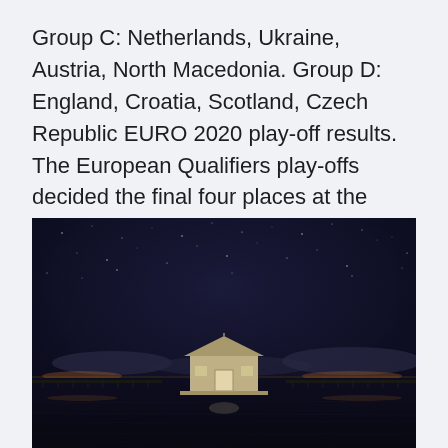Group C: Netherlands, Ukraine, Austria, North Macedonia. Group D: England, Croatia, Scotland, Czech Republic EURO 2020 play-off results. The European Qualifiers play-offs decided the final four places at the tournament.
[Figure (photo): Nighttime photograph of a small wooden boathouse or shed on a pier/jetty over water, with a dark blue starry sky above and city lights visible on the horizon.]